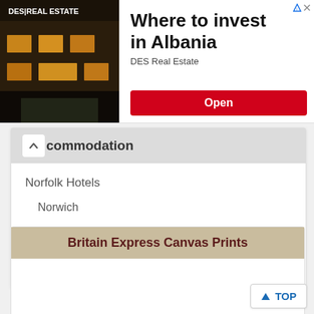[Figure (screenshot): Advertisement banner for DES Real Estate: 'Where to invest in Albania' with building photo and Open button]
Accommodation
Norfolk Hotels
Norwich
Self Catering
Bed & Breakfast
Britain Express Canvas Prints
TOP